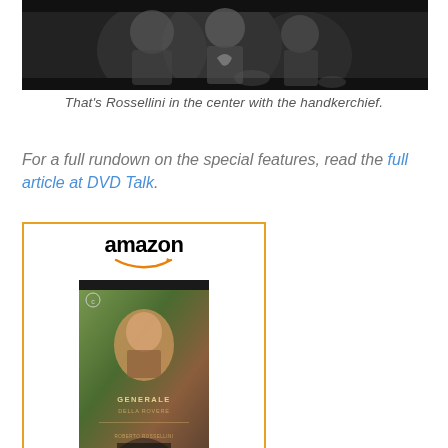[Figure (photo): Black and white photograph showing people, with Rossellini in the center holding a handkerchief.]
That's Rossellini in the center with the handkerchief.
For a full rundown on the special features, read the full article at DVD Talk.
[Figure (other): Amazon product widget showing Il Generale Della Rovere (The...) DVD at $62.97 with a Shop now button.]